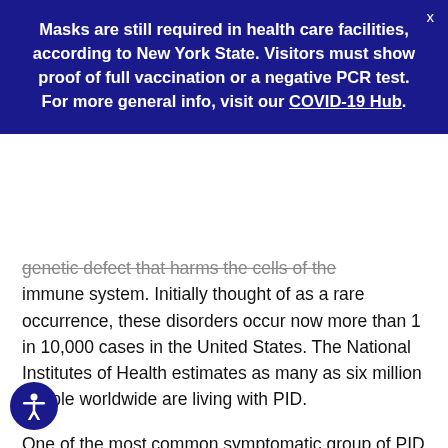Masks are still required in health care facilities, according to New York State. Visitors must show proof of full vaccination or a negative PCR test. For more general info, visit our COVID-19 Hub.
genetic defect that harms the cells of the immune system. Initially thought of as a rare occurrence, these disorders occur now more than 1 in 10,000 cases in the United States. The National Institutes of Health estimates as many as six million people worldwide are living with PID.
One of the most common symptomatic group of PID syndromes is common variable immunodeficiency disease (CVID). One of the characteristics of CVID is the lack of specific antibody production to infections or vaccinations. While children can be diagnosed with CVID, 80 percent of cases are diagnosed between 20 and 40 years of age. Dr.